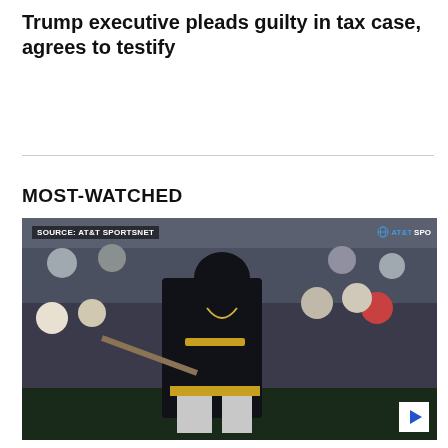Trump executive pleads guilty in tax case, agrees to testify
MOST-WATCHED
[Figure (photo): A Pittsburgh Pirates baseball player in a black and gold uniform running on the field, with a stadium crowd visible in the background. Source label reads 'SOURCE: AT&T SPORTSNET' in upper left. AT&T SportsNet logo in upper right. A play button is visible in the lower right corner.]